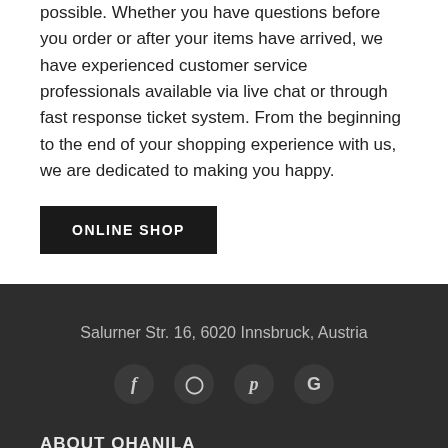possible. Whether you have questions before you order or after your items have arrived, we have experienced customer service professionals available via live chat or through fast response ticket system. From the beginning to the end of your shopping experience with us, we are dedicated to making you happy.
ONLINE SHOP
Salurner Str. 16, 6020 Innsbruck, Austria
ABOUT OHANILA
About Us
Our Guarantee